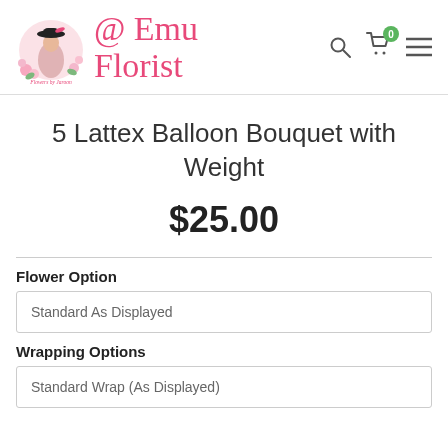[Figure (logo): Emu Florist logo with a stylized woman in a black hat surrounded by pink flowers and text 'Flowers by Jaroon', alongside cursive brand name '@ Emu Florist' in pink]
5 Lattex Balloon Bouquet with Weight
$25.00
Flower Option
Standard As Displayed
Wrapping Options
Standard Wrap (As Displayed)